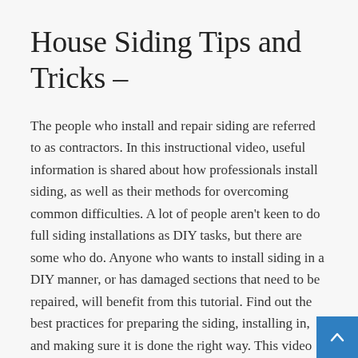House Siding Tips and Tricks –
The people who install and repair siding are referred to as contractors. In this instructional video, useful information is shared about how professionals install siding, as well as their methods for overcoming common difficulties. A lot of people aren't keen to do full siding installations as DIY tasks, but there are some who do. Anyone who wants to install siding in a DIY manner, or has damaged sections that need to be repaired, will benefit from this tutorial. Find out the best practices for preparing the siding, installing in, and making sure it is done the right way. This video will be the easiest way to collect facts and information about the siding